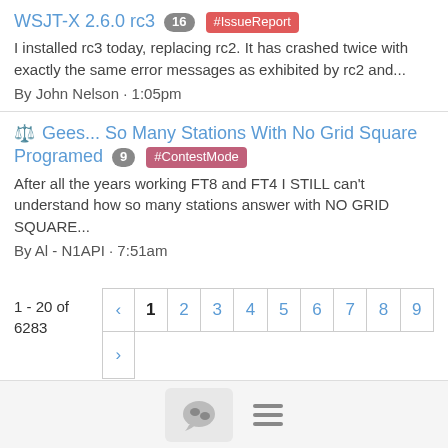WSJT-X 2.6.0 rc3  16  #IssueReport
I installed rc3 today, replacing rc2. It has crashed twice with exactly the same error messages as exhibited by rc2 and...
By John Nelson · 1:05pm
⚖ Gees... So Many Stations With No Grid Square Programed  9  #ContestMode
After all the years working FT8 and FT4 I STILL can't understand how so many stations answer with NO GRID SQUARE...
By Al - N1API · 7:51am
1 - 20 of 6283
[Figure (other): Pagination control with left arrow, pages 1-9, and right arrow below]
Chat icon and hamburger menu icon in footer bar